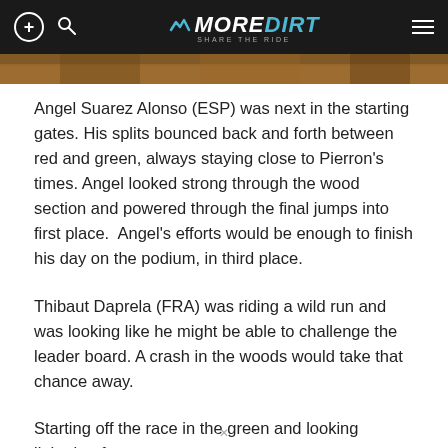MOREDIRT — SHARE THE RIDE
[Figure (photo): Dirt trail or mountain bike terrain strip image]
Angel Suarez Alonso (ESP) was next in the starting gates. His splits bounced back and forth between red and green, always staying close to Pierron's times. Angel looked strong through the wood section and powered through the final jumps into first place.  Angel's efforts would be enough to finish his day on the podium, in third place.
Thibaut Daprela (FRA) was riding a wild run and was looking like he might be able to challenge the leader board. A crash in the woods would take that chance away.
Starting off the race in the green and looking lightning-fast